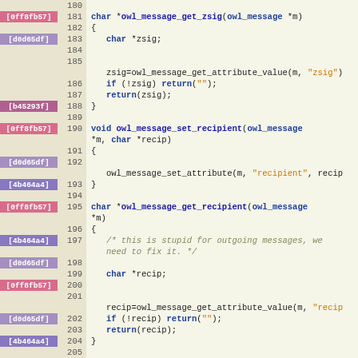[Figure (screenshot): Source code viewer showing C code lines 180-206 with git blame annotations. Left column shows commit hashes colored by author, middle column shows line numbers, right column shows C source code with syntax highlighting.]